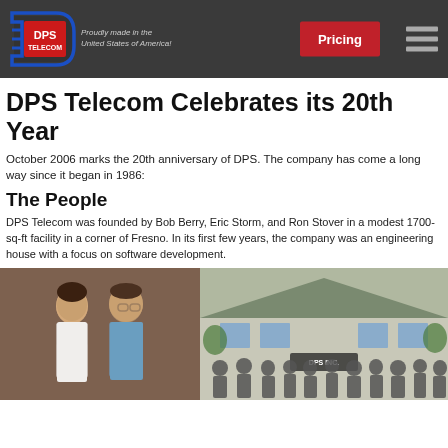DPS Telecom — Proudly made in the United States of America! — Pricing
DPS Telecom Celebrates its 20th Year
October 2006 marks the 20th anniversary of DPS. The company has come a long way since it began in 1986:
The People
DPS Telecom was founded by Bob Berry, Eric Storm, and Ron Stover in a modest 1700-sq-ft facility in a corner of Fresno. In its first few years, the company was an engineering house with a focus on software development.
[Figure (photo): Two men posing together indoors, older photograph from the 1980s era]
[Figure (photo): Group photo of DPS employees in front of a building with a DPS Inc sign]